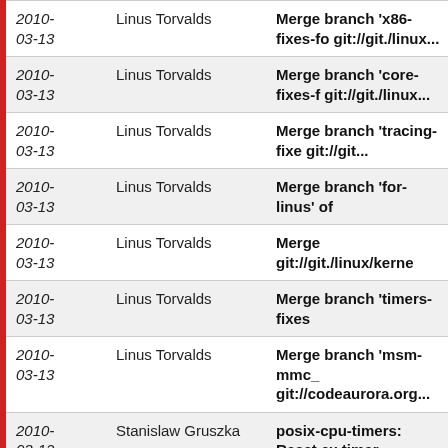| Date | Author | Commit Message |
| --- | --- | --- |
| 2010-03-13 | Linus Torvalds | Merge branch 'x86-fixes-fo git://git./linux... |
| 2010-03-13 | Linus Torvalds | Merge branch 'core-fixes-f git://git./linux... |
| 2010-03-13 | Linus Torvalds | Merge branch 'tracing-fixe git://git... |
| 2010-03-13 | Linus Torvalds | Merge branch 'for-linus' of |
| 2010-03-13 | Linus Torvalds | Merge git://git./linux/kerne |
| 2010-03-13 | Linus Torvalds | Merge branch 'timers-fixes |
| 2010-03-13 | Linus Torvalds | Merge branch 'msm-mmc_ git://codeaurora.org... |
| 2010-03-12 | Stanislaw Gruszka | posix-cpu-timers: Reset ex timer... |
| 2010-03-09 | Ingo Molnar | Merge commit 'v2.6.34-rc1 |
| 2010-03-09 | Dmitry Torokhov | Merge commit 'v2.6.34-rc1 |
| 2010- | Benjamin | Merge commit 'kumar/next |